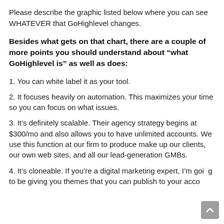Please describe the graphic listed below where you can see WHATEVER that GoHighlevel changes.
Besides what gets on that chart, there are a couple of more points you should understand about “what GoHighlevel is” as well as does:
1. You can white label it as your tool.
2. It focuses heavily on automation. This maximizes your time so you can focus on what issues.
3. It’s definitely scalable. Their agency strategy begins at $300/mo and also allows you to have unlimited accounts. We use this function at our firm to produce make up our clients, our own web sites, and all our lead-generation GMBs.
4. It’s cloneable. If you’re a digital marketing expert, I’m going to be giving you themes that you can publish to your account